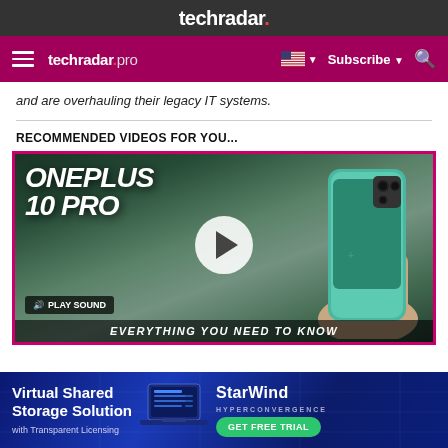techradar.
techradar pro | Subscribe | Search
and are overhauling their legacy IT systems.
RECOMMENDED VIDEOS FOR YOU...
[Figure (screenshot): Video thumbnail for OnePlus 10 Pro review showing a teal smartphone held in hand with text 'ONEPLUS 10 PRO' and 'EVERYTHING YOU NEED TO KNOW'. A play button overlay and PLAY SOUND button are visible.]
[Figure (screenshot): Advertisement banner for StarWind Hyperconvergence Virtual Shared Storage Solution with Transparent Licensing. Features a laptop graphic and GET FREE TRIAL button.]